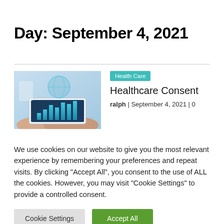Day: September 4, 2021
[Figure (photo): Hands holding a tablet displaying holographic bar charts and a globe, representing digital health data analytics.]
Health Care
Healthcare Consent
ralph | September 4, 2021 | 0
We use cookies on our website to give you the most relevant experience by remembering your preferences and repeat visits. By clicking "Accept All", you consent to the use of ALL the cookies. However, you may visit "Cookie Settings" to provide a controlled consent.
Cookie Settings  Accept All